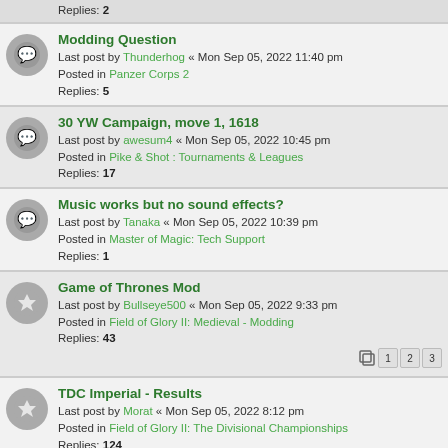Replies: 2
Modding Question
Last post by Thunderhog « Mon Sep 05, 2022 11:40 pm
Posted in Panzer Corps 2
Replies: 5
30 YW Campaign, move 1, 1618
Last post by awesum4 « Mon Sep 05, 2022 10:45 pm
Posted in Pike & Shot : Tournaments & Leagues
Replies: 17
Music works but no sound effects?
Last post by Tanaka « Mon Sep 05, 2022 10:39 pm
Posted in Master of Magic: Tech Support
Replies: 1
Game of Thrones Mod
Last post by Bullseye500 « Mon Sep 05, 2022 9:33 pm
Posted in Field of Glory II: Medieval - Modding
Replies: 43
TDC Imperial - Results
Last post by Morat « Mon Sep 05, 2022 8:12 pm
Posted in Field of Glory II: The Divisional Championships
Replies: 124
600 BC World Cup
Last post by angusosborne « Mon Sep 05, 2022 8:07 pm
Posted in Field of Glory II: Tournaments & Leagues
Replies: 3
Any plans to fix console bugs on Xbox/PS?
Last post by GavinJones « Mon Sep 05, 2022 7:20 pm
Posted in Order of Battle Series
Replies: 6